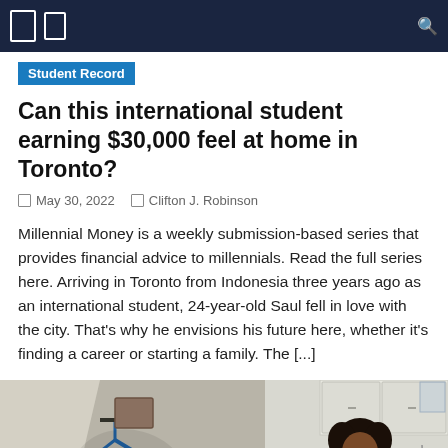Student Record
Can this international student earning $30,000 feel at home in Toronto?
May 30, 2022   Clifton J. Robinson
Millennial Money is a weekly submission-based series that provides financial advice to millennials. Read the full series here. Arriving in Toronto from Indonesia three years ago as an international student, 24-year-old Saul fell in love with the city. That's why he envisions his future here, whether it's finding a career or starting a family. The [...]
[Figure (photo): A split photo showing a bicycle leaning against a wall on the left, and a woman with curly hair drinking from a cup in a kitchen on the right.]